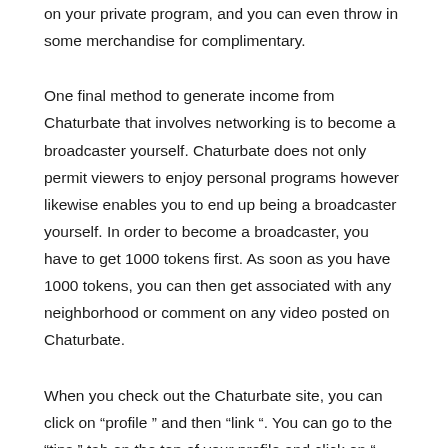on your private program, and you can even throw in some merchandise for complimentary.
One final method to generate income from Chaturbate that involves networking is to become a broadcaster yourself. Chaturbate does not only permit viewers to enjoy personal programs however likewise enables you to end up being a broadcaster yourself. In order to become a broadcaster, you have to get 1000 tokens first. As soon as you have 1000 tokens, you can then get associated with any neighborhood or comment on any video posted on Chaturbate.
When you check out the Chaturbate site, you can click on “profile ” and then “link “. You can go to the “tips ” tab on the top of your profile and click on “ cam reveals “. When browsing through the list of readily available shows, you may desire to discover some that interest you, such as “school webcams “, “cameras for couples ” or “teen cams “. You can let them know you 've got their info right on